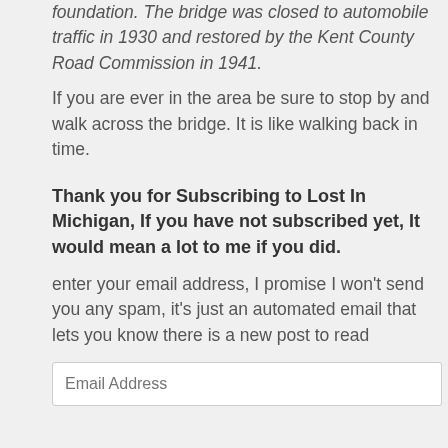foundation. The bridge was closed to automobile traffic in 1930 and restored by the Kent County Road Commission in 1941.
If you are ever in the area be sure to stop by and walk across the bridge. It is like walking back in time.
Thank you for Subscribing to Lost In Michigan, If you have not subscribed yet, It would mean a lot to me if you did.
enter your email address, I promise I won't send you any spam, it's just an automated email that lets you know there is a new post to read
Email Address